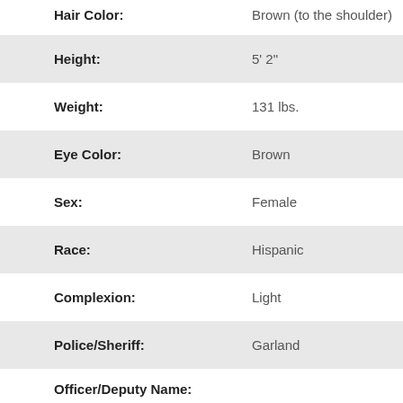| Field | Value |
| --- | --- |
| Hair Color: | Brown (to the shoulder) |
| Height: | 5' 2" |
| Weight: | 131 lbs. |
| Eye Color: | Brown |
| Sex: | Female |
| Race: | Hispanic |
| Complexion: | Light |
| Police/Sheriff: | Garland |
| Officer/Deputy Name: |  |